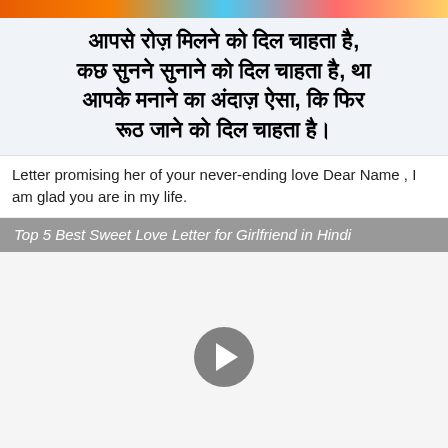[Figure (photo): Colorful decorative banner strip at top of page]
आपसे रोज़ मिलने को दिल चाहता है, कछ सुनने सुनाने को दिल चाहता है, था आपके मनाने का अंदाज़ ऐसा, कि फिर रूठ जाने को दिल चाहता है।
Letter promising her of your never-ending love Dear Name , I am glad you are in my life.
Top 5 Best Sweet Love Letter for Girlfriend in Hindi
[Figure (screenshot): Video player area with play button in center, light gray background]
Final Words: Hope you like all the First Love Shayari for Girlfriend in Hindi.